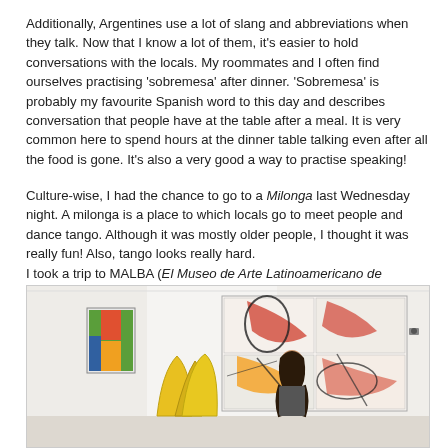Additionally, Argentines use a lot of slang and abbreviations when they talk. Now that I know a lot of them, it's easier to hold conversations with the locals. My roommates and I often find ourselves practising 'sobremesa' after dinner. 'Sobremesa' is probably my favourite Spanish word to this day and describes conversation that people have at the table after a meal. It is very common here to spend hours at the dinner table talking even after all the food is gone. It's also a very good a way to practise speaking!
Culture-wise, I had the chance to go to a Milonga last Wednesday night. A milonga is a place to which locals go to meet people and dance tango. Although it was mostly older people, I thought it was really fun! Also, tango looks really hard.
I took a trip to MALBA (El Museo de Arte Latinoamericano de Buenos Aires), where I saw works of famous artists like Diego Rivera, Frida Kahlo, Fernando Botero, among others.
[Figure (photo): A person standing in a white museum gallery in front of a large abstract painting with red, black and white motifs. Yellow sculptural forms are visible in the foreground. A colorful artwork is on the left wall.]